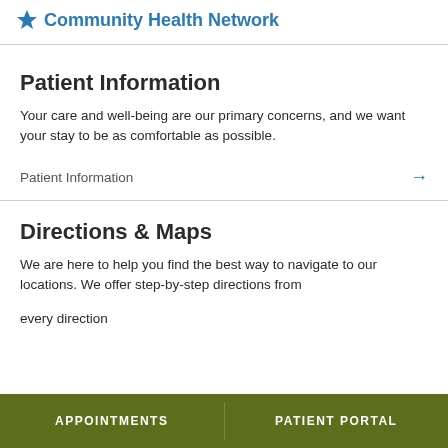Community Health Network
Patient Information
Your care and well-being are our primary concerns, and we want your stay to be as comfortable as possible.
Patient Information →
Directions & Maps
We are here to help you find the best way to navigate to our locations. We offer step-by-step directions from every direction
APPOINTMENTS  PATIENT PORTAL